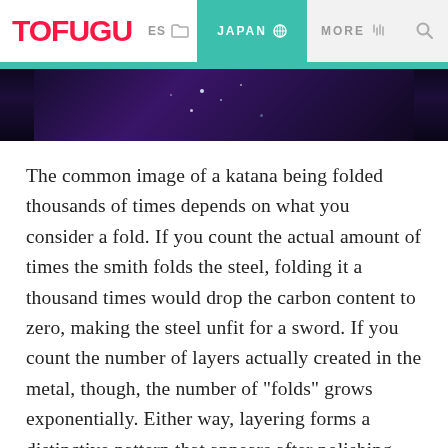TOFUGU | ES | JAPAN | MORE
[Figure (photo): Dark purple-toned photo, likely showing a katana or sword-related scene with dramatic lighting]
The common image of a katana being folded thousands of times depends on what you consider a fold. If you count the actual amount of times the smith folds the steel, folding it a thousand times would drop the carbon content to zero, making the steel unfit for a sword. If you count the number of layers actually created in the metal, though, the number of "folds" grows exponentially. Either way, layering forms a distinctive pattern that appears after polishing. Waves, knots, and even wood-like patterns can be